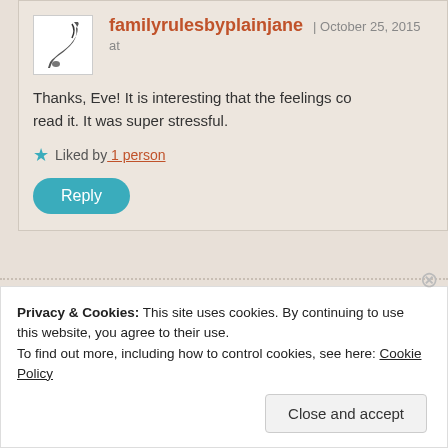familyrulesbyplainjane | October 25, 2015 at
Thanks, Eve! It is interesting that the feelings co… read it. It was super stressful.
Liked by 1 person
Reply
Eve Messenger | October 25, 2015 at 12:03 am
Privacy & Cookies: This site uses cookies. By continuing to use this website, you agree to their use. To find out more, including how to control cookies, see here: Cookie Policy
Close and accept